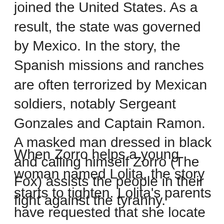joined the United States. As a result, the state was governed by Mexico. In the story, the Spanish missions and ranches are often terrorized by Mexican soldiers, notably Sergeant Gonzales and Captain Ramon. A masked man dressed in black and calling himself Zorro (The Fox) assists the people in their fight against the tyranny.
When Zorro helps a young woman named Lolita, the story starts to tighten. Lolita's parents have requested that she locate a proper suitor to marry. Don Diego Vega, a wealthy man living with his father, attempts to swoon Lolita and asks if she will marry him. The problem is that Lolita has her eyes fixed on the dashing Zorro and now her heart is beating for him. However, Lolita doesn't realize that Vega is Zorro. When Captain Ramon forces himself on Lolita, Zorro comes to the rescue, further emphasizing her attraction for the lone hero. Later, Zorro comes to the aid of his friend Fray Felipe while also being hunted